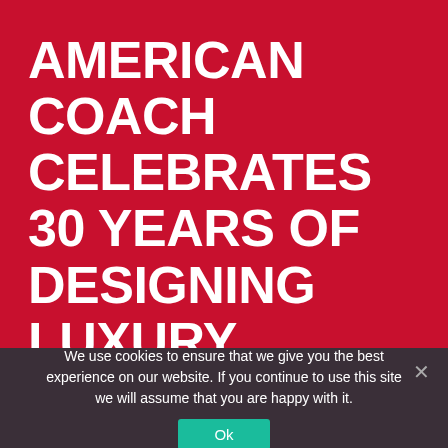AMERICAN COACH CELEBRATES 30 YEARS OF DESIGNING LUXURY MOTORHOMES
We use cookies to ensure that we give you the best experience on our website. If you continue to use this site we will assume that you are happy with it.